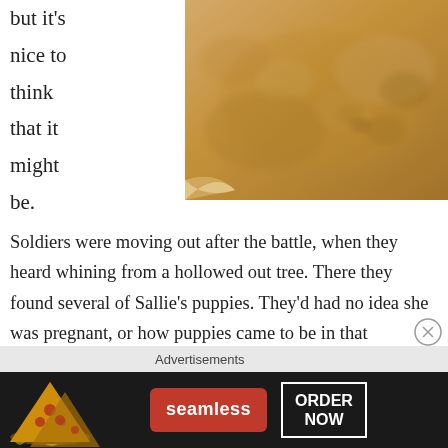but it's nice to think that it might be.
[Figure (photo): Close-up photograph of a dog, golden/tan colored fur, lying down, warm amber tones.]
Soldiers were moving out after the battle, when they heard whining from a hollowed out tree. There they found several of Sallie's puppies. They'd had no idea she was pregnant, or how puppies came to be in that hollowed out tree, but they gave them to local civilians so that Sallie's bloodline could live on.
Advertisements
[Figure (screenshot): Seamless food delivery advertisement banner showing pizza image on left, Seamless red logo in center, and ORDER NOW button on right, on dark background.]